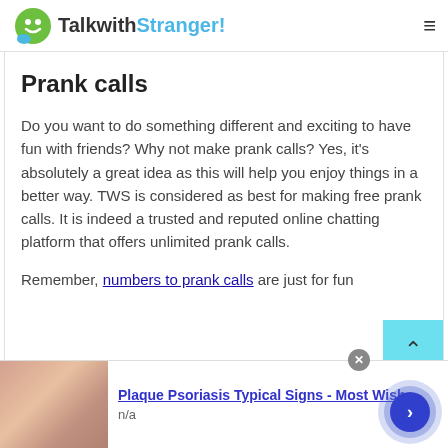TalkwithStranger!
Prank calls
Do you want to do something different and exciting to have fun with friends? Why not make prank calls? Yes, it's absolutely a great idea as this will help you enjoy things in a better way. TWS is considered as best for making free prank calls. It is indeed a trusted and reputed online chatting platform that offers unlimited prank calls.
Remember, numbers to prank calls are just for fun
[Figure (screenshot): Advertisement banner with image and text: Plaque Psoriasis Typical Signs - Most Wish, n/a]